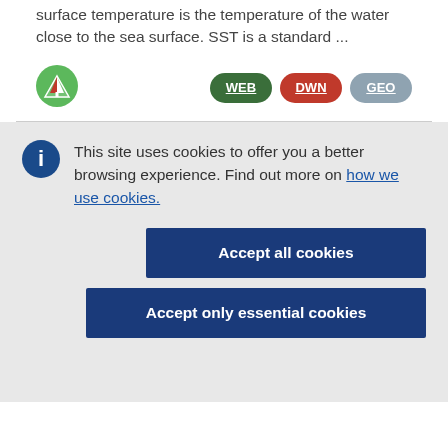surface temperature is the temperature of the water close to the sea surface. SST is a standard ...
[Figure (logo): Green circular icon with a white sailboat/mountain symbol]
[Figure (infographic): Three colored badge buttons labeled WEB (dark green), DWN (red), GEO (gray-blue)]
This site uses cookies to offer you a better browsing experience. Find out more on how we use cookies.
Accept all cookies
Accept only essential cookies